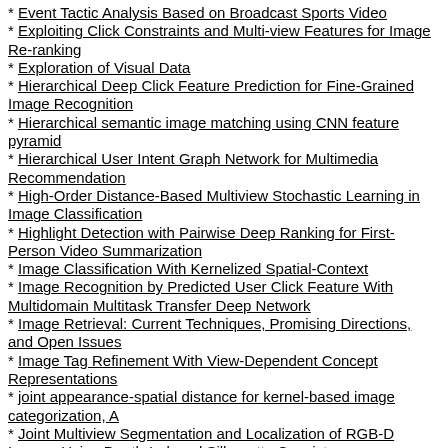Event Tactic Analysis Based on Broadcast Sports Video
Exploiting Click Constraints and Multi-view Features for Image Re-ranking
Exploration of Visual Data
Hierarchical Deep Click Feature Prediction for Fine-Grained Image Recognition
Hierarchical semantic image matching using CNN feature pyramid
Hierarchical User Intent Graph Network for Multimedia Recommendation
High-Order Distance-Based Multiview Stochastic Learning in Image Classification
Highlight Detection with Pairwise Deep Ranking for First-Person Video Summarization
Image Classification With Kernelized Spatial-Context
Image Recognition by Predicted User Click Feature With Multidomain Multitask Transfer Deep Network
Image Retrieval: Current Techniques, Promising Directions, and Open Issues
Image Tag Refinement With View-Dependent Concept Representations
joint appearance-spatial distance for kernel-based image categorization, A
Joint Multiview Segmentation and Localization of RGB-D Images Using Depth-Induced Silhouette Consistency